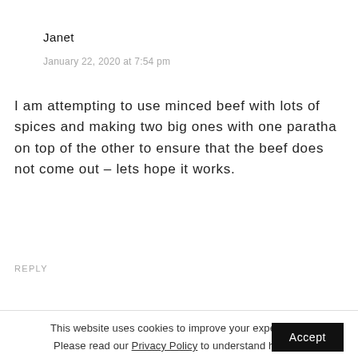Janet
January 22, 2020 at 7:54 pm
I am attempting to use minced beef with lots of spices and making two big ones with one paratha on top of the other to ensure that the beef does not come out – lets hope it works.
REPLY
This website uses cookies to improve your experience. Please read our Privacy Policy to understand how we process your data and use cookies.